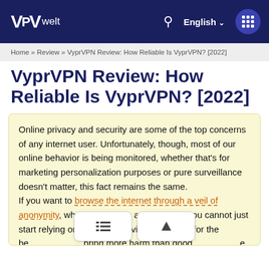VPRwelt | English
Home » Review » VyprVPN Review: How Reliable Is VyprVPN? [2022]
VyprVPN Review: How Reliable Is VyprVPN? [2022]
Online privacy and security are some of the top concerns of any internet user. Unfortunately, though, most of our online behavior is being monitored, whether that's for marketing personalization purposes or pure surveillance doesn't matter, this fact remains the same. If you want to browse the internet through a veil of anonymity, what you need is a VPN. Now, you cannot just start relying on any VPN provider and hope for the best, as some VPNs bring more harm than good ... your online privacy and security. You should always use a diligent